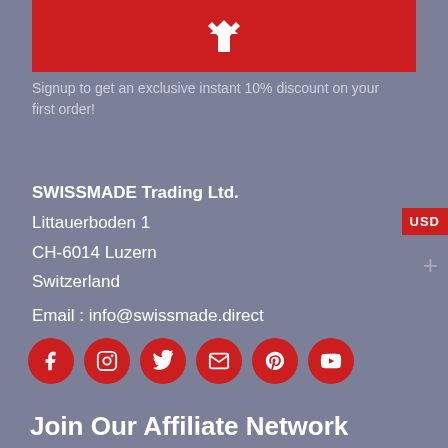[Figure (logo): Red banner with white arrow/chevron icon (SWISSMADE logo)]
Signup to get an exclusive instant 10% discount on your first order!
SWISSMADE Trading Ltd.
Littauerboden 1
CH-6014 Luzern
Switzerland
Email : info@swissmade.direct
[Figure (infographic): Six red circular social media icons: Facebook, Instagram, Twitter, Email, Pinterest, YouTube]
Join Our Affiliate Network